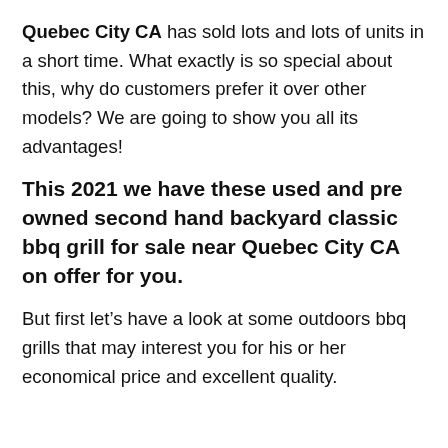Quebec City CA has sold lots and lots of units in a short time. What exactly is so special about this, why do customers prefer it over other models? We are going to show you all its advantages!
This 2021 we have these used and pre owned second hand backyard classic bbq grill for sale near Quebec City CA on offer for you.
But first let’s have a look at some outdoors bbq grills that may interest you for his or her economical price and excellent quality.